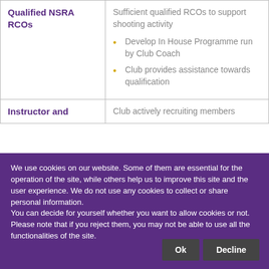|  |  |
| --- | --- |
| Qualified NSRA RCOs | Sufficient qualified RCOs to support shooting activity
• Develop In House Programme run by Club Coach
• Club provides assistance towards qualification |
| Instructor and | Club actively recruiting members |
We use cookies on our website. Some of them are essential for the operation of the site, while others help us to improve this site and the user experience. We do not use any cookies to collect or share personal information.
You can decide for yourself whether you want to allow cookies or not. Please note that if you reject them, you may not be able to use all the functionalities of the site.